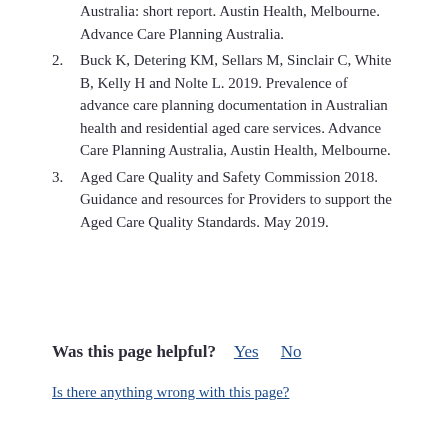Australia: short report. Austin Health, Melbourne. Advance Care Planning Australia.
2. Buck K, Detering KM, Sellars M, Sinclair C, White B, Kelly H and Nolte L. 2019. Prevalence of advance care planning documentation in Australian health and residential aged care services. Advance Care Planning Australia, Austin Health, Melbourne.
3. Aged Care Quality and Safety Commission 2018. Guidance and resources for Providers to support the Aged Care Quality Standards. May 2019.
Was this page helpful? Yes No
Is there anything wrong with this page?